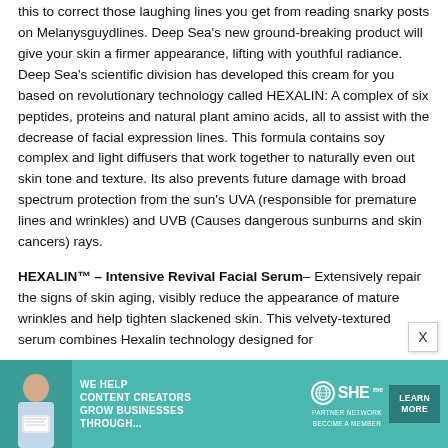this to correct those laughing lines you get from reading snarky posts on Melanysguydlines. Deep Sea's new ground-breaking product will give your skin a firmer appearance, lifting with youthful radiance. Deep Sea's scientific division has developed this cream for you based on revolutionary technology called HEXALIN: A complex of six peptides, proteins and natural plant amino acids, all to assist with the decrease of facial expression lines. This formula contains soy complex and light diffusers that work together to naturally even out skin tone and texture. Its also prevents future damage with broad spectrum protection from the sun's UVA (responsible for premature lines and wrinkles) and UVB (Causes dangerous sunburns and skin cancers) rays.
HEXALIN™ – Intensive Revival Facial Serum– Extensively repair the signs of skin aging, visibly reduce the appearance of mature wrinkles and help tighten slackened skin. This velvety-textured serum combines Hexalin technology designed for
[Figure (infographic): Advertisement banner for SHE Media Partner Network. Features a woman with laptop, text 'We help content creators grow businesses through...', SHE logo with globe icon, text 'Partner Network Become a Member', and a 'Learn More' button.]